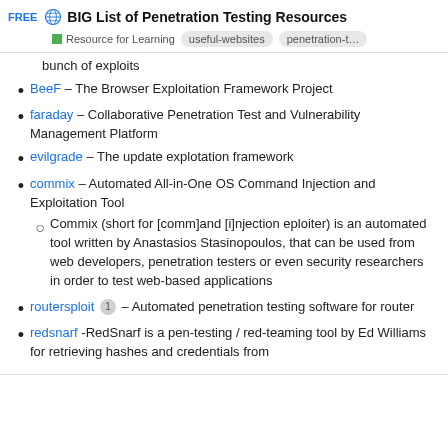FREE 🌐 BIG List of Penetration Testing Resources | Resource for Learning | useful-websites | penetration-t...
bunch of exploits
BeeF – The Browser Exploitation Framework Project
faraday – Collaborative Penetration Test and Vulnerability Management Platform
evilgrade – The update explotation framework
commix – Automated All-in-One OS Command Injection and Exploitation Tool
Commix (short for [comm]and [i]njection eploiter) is an automated tool written by Anastasios Stasinopoulos, that can be used from web developers, penetration testers or even security researchers in order to test web-based applications
routersploit 1 – Automated penetration testing software for router
redsnarf -RedSnarf is a pen-testing / red-teaming tool by Ed Williams for retrieving hashes and credentials from